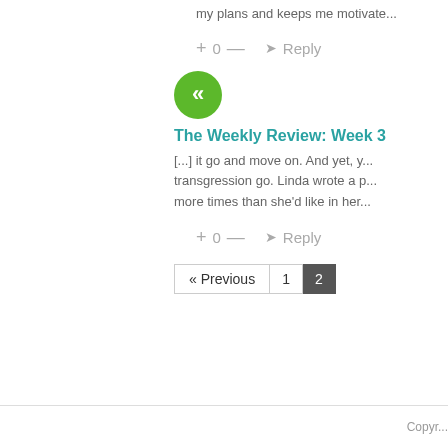my plans and keeps me motivate...
+ 0 — → Reply
[Figure (logo): Green circular avatar with white double-chevron left icon]
The Weekly Review: Week 3
[...] it go and move on. And yet, y... transgression go. Linda wrote a p... more times than she'd like in her...
+ 0 — → Reply
« Previous  1  2
Copyr...